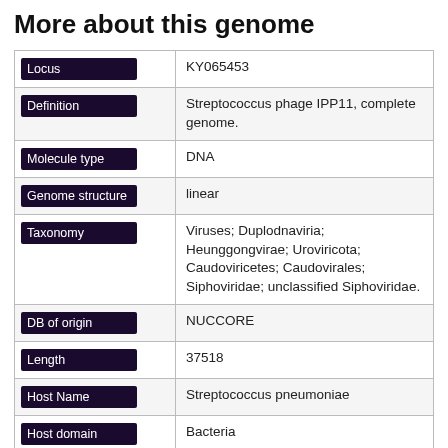More about this genome
| Field | Value |
| --- | --- |
| Locus | KY065453 |
| Definition | Streptococcus phage IPP11, complete genome. |
| Molecule type | DNA |
| Genome structure | linear |
| Taxonomy | Viruses; Duplodnaviria; Heunggongvirae; Uroviricota; Caudoviricetes; Caudovirales; Siphoviridae; unclassified Siphoviridae. |
| DB of origin | NUCCORE |
| Length | 37518 |
| Host Name | Streptococcus pneumoniae |
| Host domain | Bacteria |